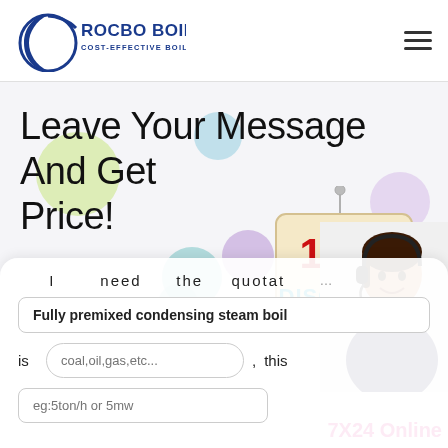[Figure (logo): Rocbo Boiler logo with crescent moon graphic and text 'ROCBO BOILER COST-EFFECTIVE BOILER SUPPLIER']
Leave Your Message And Get Price!
[Figure (illustration): 10% DISCOUNT sign hanging with decorative colorful bubbles and customer service representative photo]
I need the quotation of
Fully premixed condensing steam boil
is coal,oil,gas,etc... , this
eg:5ton/h or 5mw
7X24 Online